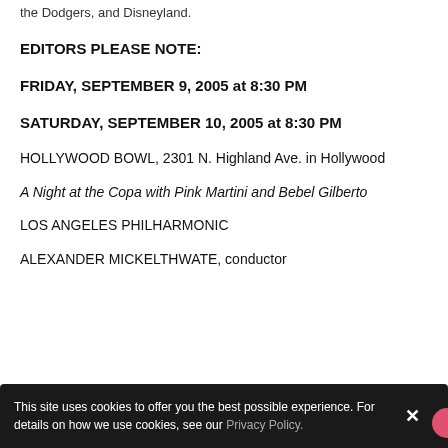the Dodgers, and Disneyland.
EDITORS PLEASE NOTE:
FRIDAY, SEPTEMBER 9, 2005 at 8:30 PM
SATURDAY, SEPTEMBER 10, 2005 at 8:30 PM
HOLLYWOOD BOWL, 2301 N. Highland Ave. in Hollywood
A Night at the Copa with Pink Martini and Bebel Gilberto
LOS ANGELES PHILHARMONIC
ALEXANDER MICKELTHWATE, conductor
This site uses cookies to offer you the best possible experience. For details on how we use cookies, see our Privacy Policy.